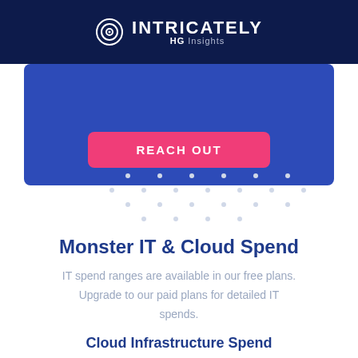INTRICATELY HG Insights
[Figure (other): Blue banner with REACH OUT button]
[Figure (other): Decorative dot grid pattern]
Monster IT & Cloud Spend
IT spend ranges are available in our free plans. Upgrade to our paid plans for detailed IT spends.
Cloud Infrastructure Spend